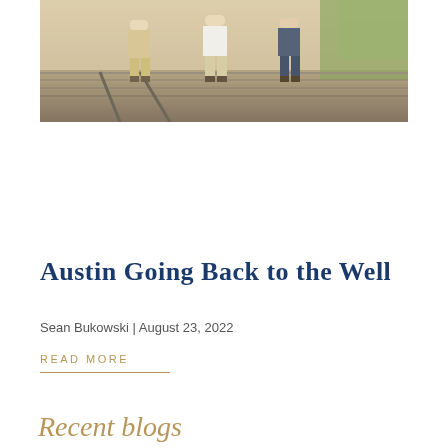[Figure (photo): Three people walking outdoors on a wooden deck or bridge structure, photographed from behind/side, warm outdoor lighting]
Austin Going Back to the Well
Sean Bukowski | August 23, 2022
READ MORE
Recent blogs